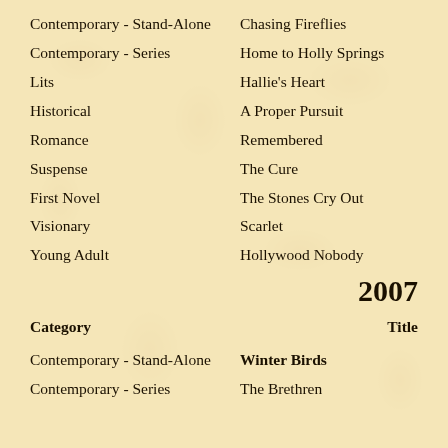Contemporary - Stand-Alone | Chasing Fireflies
Contemporary - Series | Home to Holly Springs
Lits | Hallie's Heart
Historical | A Proper Pursuit
Romance | Remembered
Suspense | The Cure
First Novel | The Stones Cry Out
Visionary | Scarlet
Young Adult | Hollywood Nobody
2007
Category | Title
Contemporary - Stand-Alone | Winter Birds
Contemporary - Series | The Brethren